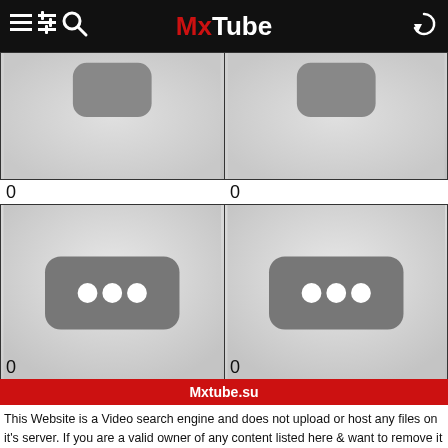MxTube
[Figure (screenshot): Two video thumbnail placeholders (top row), each showing a gray rounded rectangle icon on a light gray background]
0
0
[Figure (screenshot): Two video thumbnail placeholders (bottom row), each showing a dark gray rounded-rectangle with three white dots (loading indicator) on a light gray background]
0
0
Mxtube.su
This Website is a Video search engine and does not upload or host any files on it's server. If you are a valid owner of any content listed here & want to remove it then please send us an DMCA formatted takedown notice at @mxtube.su@gmail.com . We will remove your content as soon as possible.